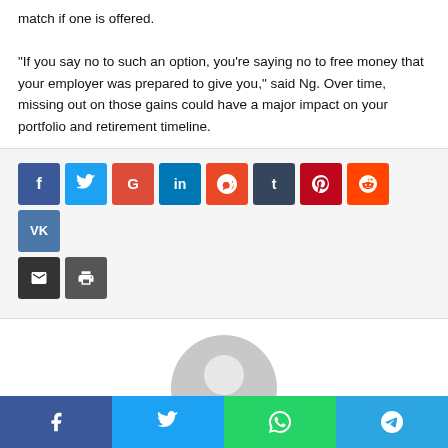match if one is offered.

“If you say no to such an option, you’re saying no to free money that your employer was prepared to give you,” said Ng. Over time, missing out on those gains could have a major impact on your portfolio and retirement timeline.
[Figure (infographic): Social media share buttons: Facebook (blue), Twitter (light blue), Google+ (red), LinkedIn (blue), StumbleUpon (orange-red), Tumblr (dark blue), Pinterest (red), Reddit (orange-red), VK (blue), Email (dark gray), Print (dark gray). Below: bottom bar with Facebook, Twitter, WhatsApp, Telegram share buttons.]
[Figure (illustration): Generic user avatar icon: gray circle with person silhouette outline.]